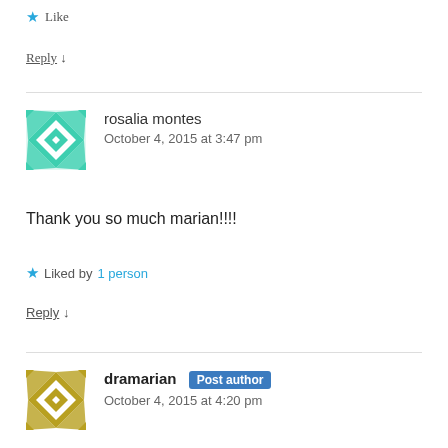★ Like
Reply ↓
rosalia montes
October 4, 2015 at 3:47 pm
Thank you so much marian!!!!
★ Liked by 1 person
Reply ↓
dramarian Post author
October 4, 2015 at 4:20 pm